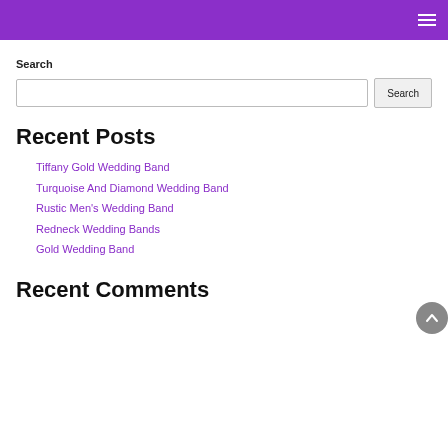Search
Search input and button
Recent Posts
Tiffany Gold Wedding Band
Turquoise And Diamond Wedding Band
Rustic Men's Wedding Band
Redneck Wedding Bands
Gold Wedding Band
Recent Comments